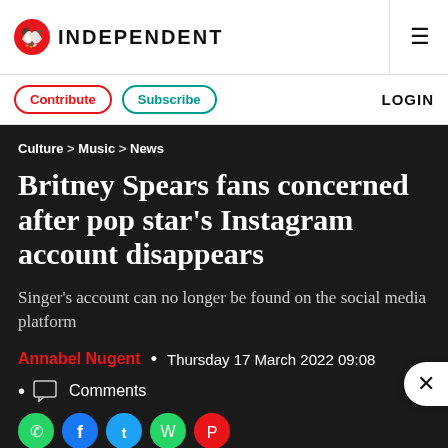INDEPENDENT
Contribute  Subscribe  LOGIN
Culture > Music > News
Britney Spears fans concerned after pop star's Instagram account disappears
Singer's account can no longer be found on the social media platform
Annabel Nugent  •  Thursday 17 March 2022 09:08
• Comments